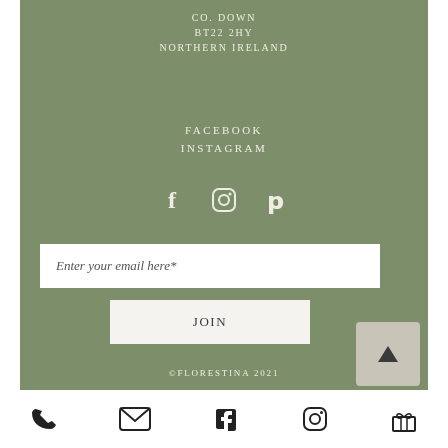CO. DOWN
BT22 2HY
NORTHERN IRELAND
FACEBOOK
INSTAGRAM
[Figure (illustration): Social media icons: Facebook (f), Instagram (camera), Pinterest (p) in white on sage green background]
Enter your email here*
JOIN
[Figure (other): Back to top button with upward triangle arrow on light beige/grey rounded square]
©FLORESTINA 2021
[Figure (illustration): Bottom navigation bar with icons: phone, email/envelope, Facebook, Instagram, gift/present]